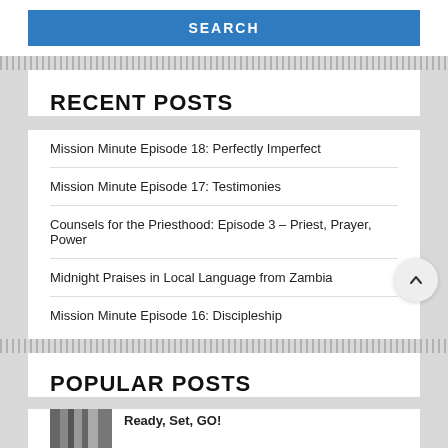SEARCH
RECENT POSTS
Mission Minute Episode 18: Perfectly Imperfect
Mission Minute Episode 17: Testimonies
Counsels for the Priesthood: Episode 3 – Priest, Prayer, Power
Midnight Praises in Local Language from Zambia
Mission Minute Episode 16: Discipleship
POPULAR POSTS
Ready, Set, GO!